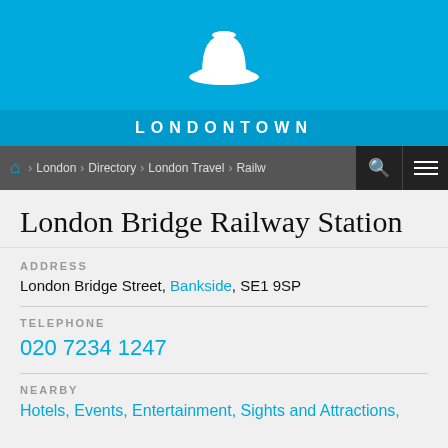[Figure (logo): LondonTown website header with white bowler hat icon on blue background and LONDONTOWN text]
LONDONTOWN
Home > London > Directory > London Travel > Railway Stations
London Bridge Railway Station
ADDRESS
London Bridge Street, Bankside, SE1 9SP
TELEPHONE
020 7234 1247
NEARBY
Hotels, Events, Entertainment, Sights and Attractions,